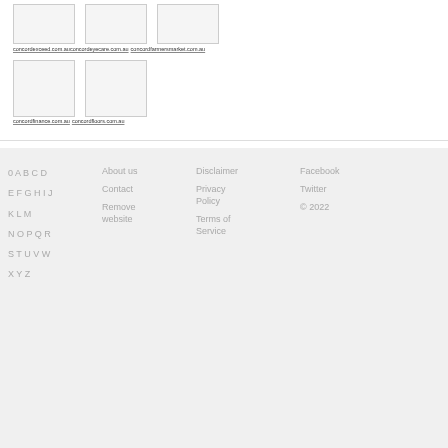[Figure (other): Three placeholder thumbnail images in a row]
concordexceed.com.au  concordeyecare.com.au  concordfarmersmarket.com.au
[Figure (other): Two placeholder thumbnail images in a row]
concordfinance.com.au  concordfloors.com.au
0 A B C D  E F G H I J  K L M  N O P Q R  S T U V W  X Y Z  |  About us  Contact  Remove website  |  Disclaimer  Privacy Policy  Terms of Service  |  Facebook  Twitter  © 2022